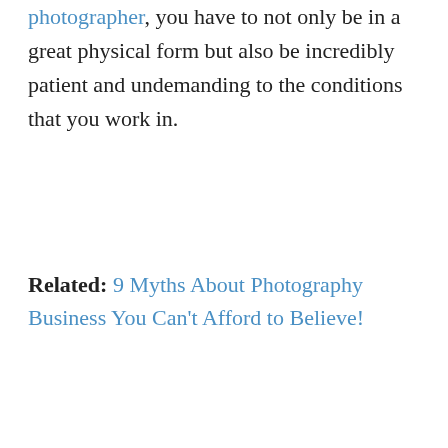photographer, you have to not only be in a great physical form but also be incredibly patient and undemanding to the conditions that you work in.
Related: 9 Myths About Photography Business You Can't Afford to Believe!
[Figure (photo): Advertisement showing a Shure SM7B microphone box and accessories with text 'Free Shipping - Free Service']